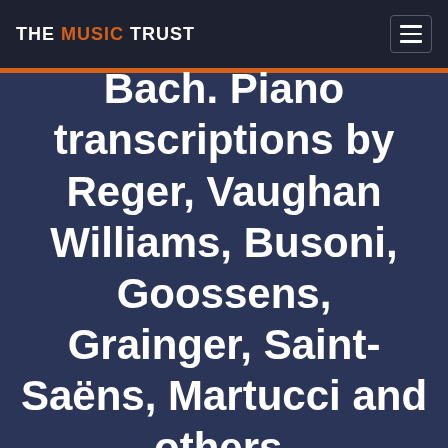THE MUSIC TRUST
Bach. Piano transcriptions by Reger, Vaughan Williams, Busoni, Goossens, Grainger, Saint-Saëns, Martucci and others.